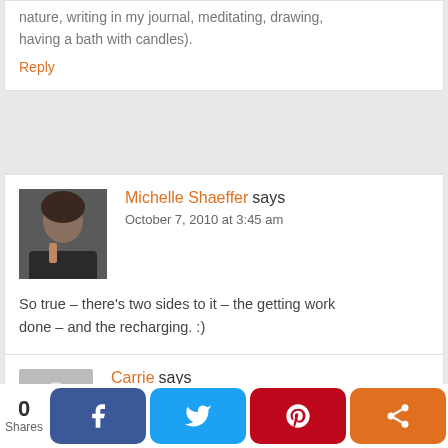nature, writing in my journal, meditating, drawing, having a bath with candles).
Reply
Michelle Shaeffer says
October 7, 2010 at 3:45 am
So true – there's two sides to it – the getting work done – and the recharging. :)
Reply
Carrie says
October 7, 2010 at 3:14 am
Excellent post! As a weekday single mother (hubby is
0 Shares